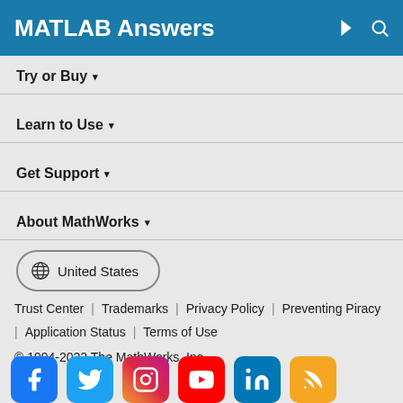MATLAB Answers
Try or Buy ▾
Learn to Use ▾
Get Support ▾
About MathWorks ▾
🌐 United States
Trust Center | Trademarks | Privacy Policy | Preventing Piracy | Application Status | Terms of Use
© 1994-2022 The MathWorks, Inc.
[Figure (logo): Social media icons: Facebook, Twitter, Instagram, YouTube, LinkedIn, RSS]